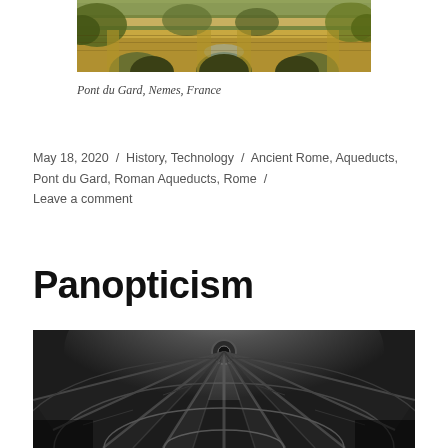[Figure (photo): Partial view of Pont du Gard ancient Roman aqueduct bridge over a river, with trees and golden stone architecture, Nemes, France]
Pont du Gard, Nemes, France
May 18, 2020 / History, Technology / Ancient Rome, Aqueducts, Pont du Gard, Roman Aqueducts, Rome / Leave a comment
Panopticism
[Figure (photo): Black and white photograph of a large glass dome ceiling with radiating metal framework, viewed from below]